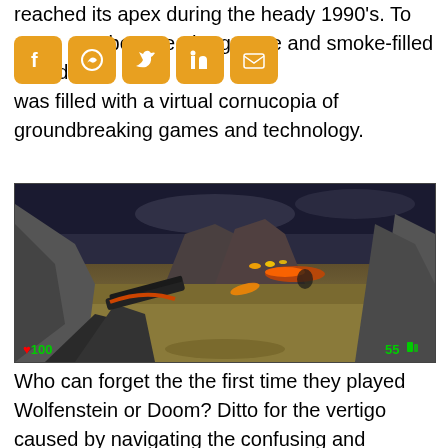reached its apex during the heady 1990’s. To be sure, the grunge and smoke-filled decade was filled with a virtual cornucopia of groundbreaking games and technology.
[Figure (screenshot): First-person shooter game screenshot showing a player holding a weapon in a rocky outdoor environment with lava or fire effects. HUD shows health 100 and ammo 55.]
Who can forget the the first time they played Wolfenstein or Doom? Ditto for the vertigo caused by navigating the confusing and